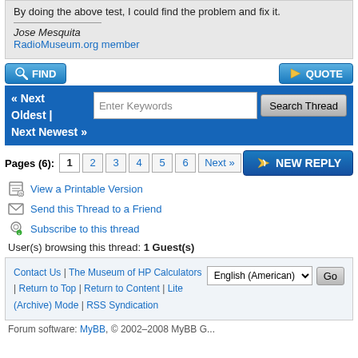By doing the above test, I could find the problem and fix it.
Jose Mesquita
RadioMuseum.org member
FIND | QUOTE
« Next Oldest | Next Newest »  [Enter Keywords] [Search Thread]
Pages (6): 1 2 3 4 5 6 Next »  NEW REPLY
View a Printable Version
Send this Thread to a Friend
Subscribe to this thread
User(s) browsing this thread: 1 Guest(s)
Contact Us | The Museum of HP Calculators | Return to Top | Return to Content | Lite (Archive) Mode | RSS Syndication
English (American) Go